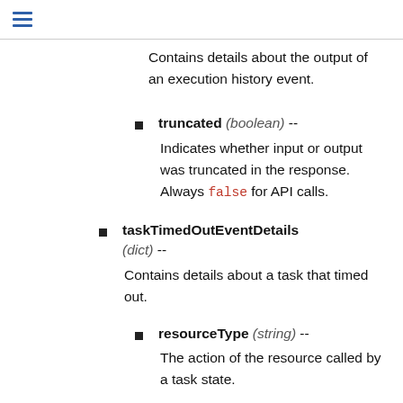Contains details about the output of an execution history event.
truncated (boolean) -- Indicates whether input or output was truncated in the response. Always false for API calls.
taskTimedOutEventDetails (dict) -- Contains details about a task that timed out.
resourceType (string) -- The action of the resource called by a task state.